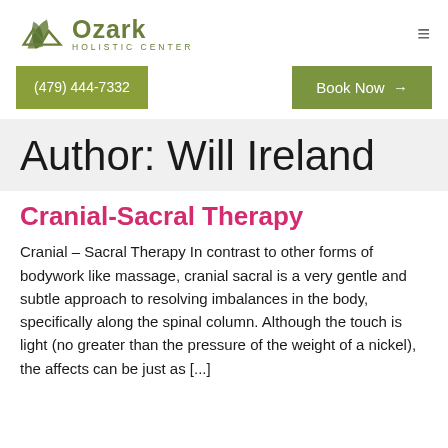[Figure (logo): Ozark Holistic Center logo with leaf/mountain icon and green text]
(479) 444-7332    Book Now →
Author: Will Ireland
Cranial-Sacral Therapy
Cranial – Sacral Therapy In contrast to other forms of bodywork like massage, cranial sacral is a very gentle and subtle approach to resolving imbalances in the body, specifically along the spinal column. Although the touch is light (no greater than the pressure of the weight of a nickel), the affects can be just as [...]